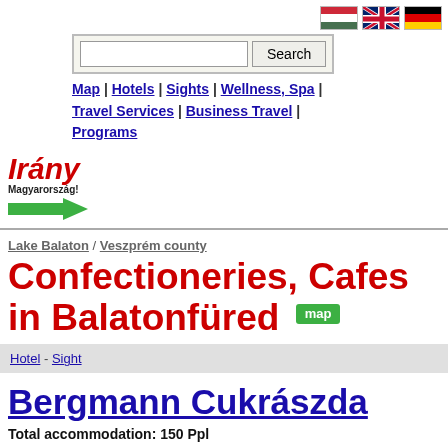[Figure (illustration): Hungarian, UK, and German flag icons for language selection]
[Figure (other): Search bar with text input and Search button]
Map | Hotels | Sights | Wellness, Spa | Travel Services | Business Travel | Programs
[Figure (logo): Irány Magyarország! logo with red italic text and green arrow]
Lake Balaton / Veszprém county
Confectioneries, Cafes in Balatonfüred
Hotel - Sight
Bergmann Cukrászda
Total accommodation: 150 Ppl